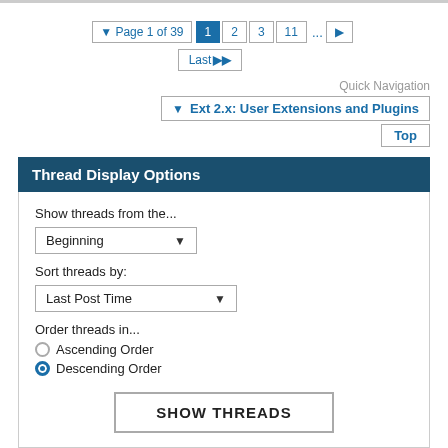Page 1 of 39  1  2  3  11  ...  ▶  Last ▶▶
Quick Navigation
▼ Ext 2.x: User Extensions and Plugins
Top
Thread Display Options
Show threads from the...
Beginning ▼
Sort threads by:
Last Post Time ▼
Order threads in...
○ Ascending Order
● Descending Order
SHOW THREADS
Icon Legend
Posting